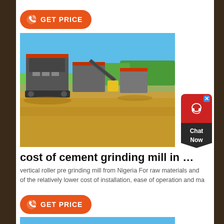[Figure (other): Orange 'GET PRICE' button with phone icon, first instance]
[Figure (photo): Mining/crushing equipment machinery at a quarry site with blue sky and sandy ground]
cost of cement grinding mill in nigeria
vertical roller pre grinding mill from Nigeria For raw materials and of the relatively lower cost of installation, ease of operation and ma
[Figure (other): Orange 'GET PRICE' button with phone icon, second instance]
[Figure (photo): Yellow construction/mining vehicle against blue sky, partially visible at bottom]
[Figure (other): Red and dark chat widget with headset icon and 'Chat Now' text on right side]